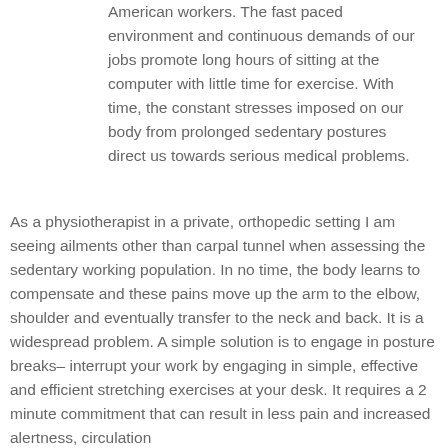American workers. The fast paced environment and continuous demands of our jobs promote long hours of sitting at the computer with little time for exercise. With time, the constant stresses imposed on our body from prolonged sedentary postures direct us towards serious medical problems.
As a physiotherapist in a private, orthopedic setting I am seeing ailments other than carpal tunnel when assessing the sedentary working population. In no time, the body learns to compensate and these pains move up the arm to the elbow, shoulder and eventually transfer to the neck and back. It is a widespread problem. A simple solution is to engage in posture breaks– interrupt your work by engaging in simple, effective and efficient stretching exercises at your desk. It requires a 2 minute commitment that can result in less pain and increased alertness, circulation